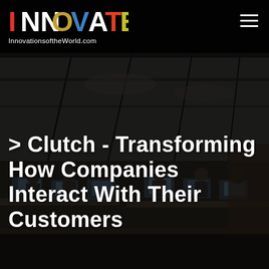[Figure (photo): Background photo of a busy open office space with people working at computers, dark industrial ceiling with exposed beams and ductwork, dimly lit environment]
INNOVATE® InnovationsoftheWorld.com
> Clutch - Transforming How Companies Interact With Their Customers